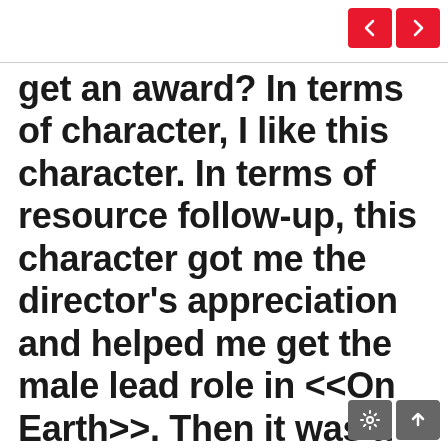[Figure (screenshot): Navigation buttons: left arrow and right arrow on red background, top right corner]
get an award? In terms of character, I like this character. In terms of resource follow-up, this character got me the director's appreciation and helped me get the male lead role in <<On Earth>>. Then it was a very good role, I played him, I'm not only not regretful, I am